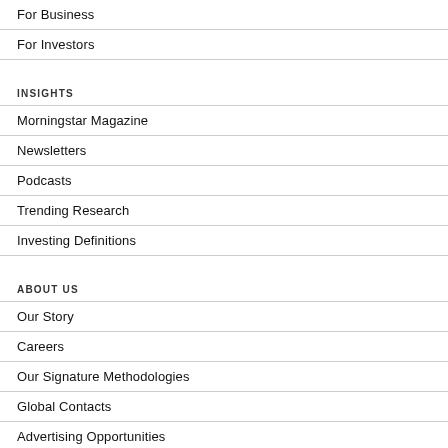For Business
For Investors
INSIGHTS
Morningstar Magazine
Newsletters
Podcasts
Trending Research
Investing Definitions
ABOUT US
Our Story
Careers
Our Signature Methodologies
Global Contacts
Advertising Opportunities
Reprints: reprints@morningstar.com
Discussion Forums